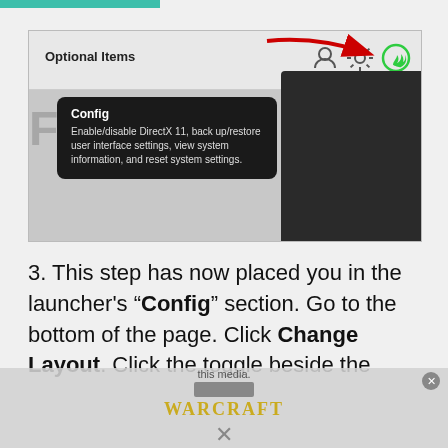[Figure (screenshot): Screenshot of a game launcher showing 'Optional Items' section with icons, a red arrow pointing to a gear/settings icon, and a dark tooltip reading 'Config: Enable/disable DirectX 11, back up/restore user interface settings, view system information, and reset system settings.']
3. This step has now placed you in the launcher's "Config" section. Go to the bottom of the page. Click Change Layout. Click the toggle beside the